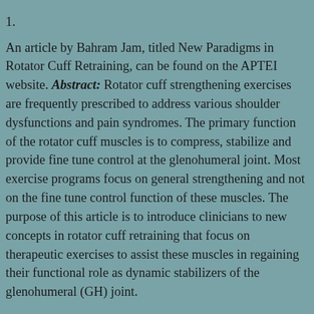1.
An article by Bahram Jam, titled New Paradigms in Rotator Cuff Retraining, can be found on the APTEI website. Abstract: Rotator cuff strengthening exercises are frequently prescribed to address various shoulder dysfunctions and pain syndromes. The primary function of the rotator cuff muscles is to compress, stabilize and provide fine tune control at the glenohumeral joint. Most exercise programs focus on general strengthening and not on the fine tune control function of these muscles. The purpose of this article is to introduce clinicians to new concepts in rotator cuff retraining that focus on therapeutic exercises to assist these muscles in regaining their functional role as dynamic stabilizers of the glenohumeral (GH) joint.
2. A study, published in Evidence-Based Complementary and